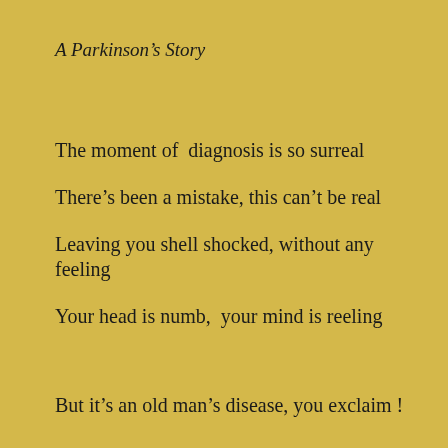A Parkinson’s Story
The moment of  diagnosis is so surreal
There’s been a mistake, this can’t be real
Leaving you shell shocked, without any feeling
Your head is numb,  your mind is reeling
But it’s an old man’s disease, you exclaim !